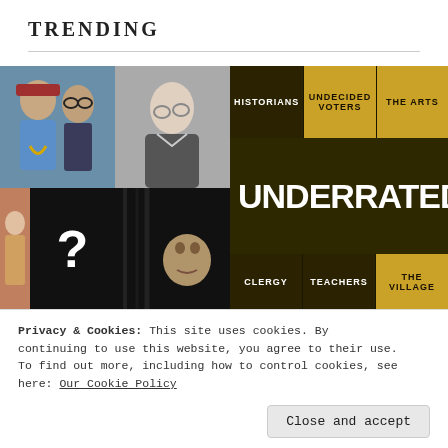Trending
[Figure (photo): Collage of music artists photos on the left, and a dark graphic with 'UNDERRATED' text and category labels (Historians, Undecided Voters, The Arts, Clergy, Teachers, The Village) on the right]
Privacy & Cookies: This site uses cookies. By continuing to use this website, you agree to their use. To find out more, including how to control cookies, see here: Our Cookie Policy
Close and accept